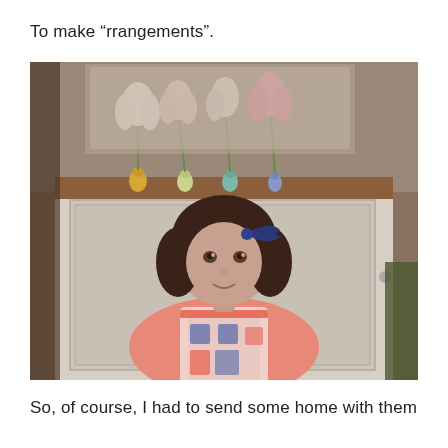To make “rrangements”.
[Figure (photo): A young girl with dark brown hair and a navy blue bow, wearing a colorful sleeveless dress with pink, white, and navy pattern, standing in front of a white distressed wooden cabinet. On top of the cabinet are small vases with tulips in white and pink colors. The background shows a rustic room setting.]
So, of course, I had to send some home with them